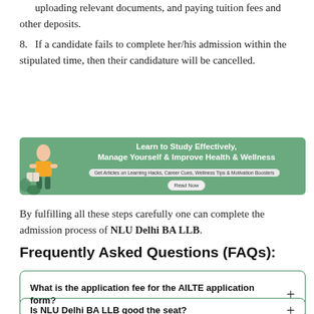uploading relevant documents, and paying tuition fees and other deposits.
8. If a candidate fails to complete her/his admission within the stipulated time, then their candidature will be cancelled.
[Figure (infographic): Green banner advertisement: 'Learn to Study Effectively, Manage Yourself & Improve Health & Wellness' with subtitle 'Get Articles on Learning Hacks, Career Cues, Wellness Tips & Motivation Boosters' and a 'Read Now' button. Decorative illustration of a person reading on the left.]
By fulfilling all these steps carefully one can complete the admission process of NLU Delhi BA LLB.
Frequently Asked Questions (FAQs):
What is the application fee for the AILTE application form?
Is NLU Delhi BA LLB good the seat?